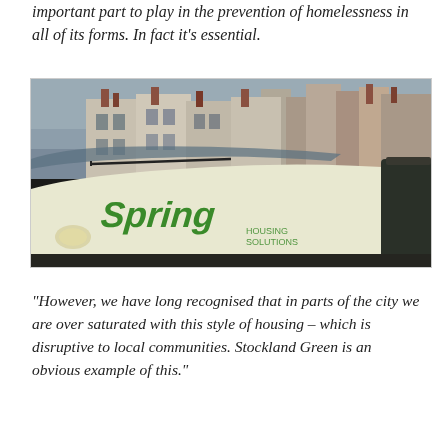important part to play in the prevention of homelessness in all of its forms. In fact it's essential.
[Figure (photo): A white van with 'Spring' written in green lettering on the bonnet, parked on a street with rows of terraced Victorian houses in the background under an overcast sky.]
“However, we have long recognised that in parts of the city we are over saturated with this style of housing – which is disruptive to local communities. Stockland Green is an obvious example of this.”